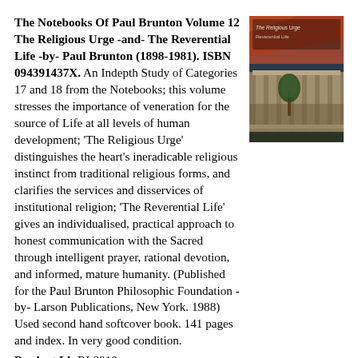The Notebooks Of Paul Brunton Volume 12 The Religious Urge -and- The Reverential Life -by- Paul Brunton (1898-1981). ISBN 094391437X. An Indepth Study of Categories 17 and 18 from the Notebooks; this volume stresses the importance of veneration for the source of Life at all levels of human development; 'The Religious Urge' distinguishes the heart's ineradicable religious instinct from traditional religious forms, and clarifies the services and disservices of institutional religion; 'The Reverential Life' gives an individualised, practical approach to honest communication with the Sacred through intelligent prayer, rational devotion, and informed, mature humanity. (Published for the Paul Brunton Philosophic Foundation -by- Larson Publications, New York. 1988) Used second hand softcover book. 141 pages and index. In very good condition.
[Figure (photo): Book cover of 'The Notebooks Of Paul Brunton Volume 12: The Religious Urge and The Reverential Life', showing a classical building with columns and a tree in warm tones.]
Product Id: RL8910
Price: AU$5.00